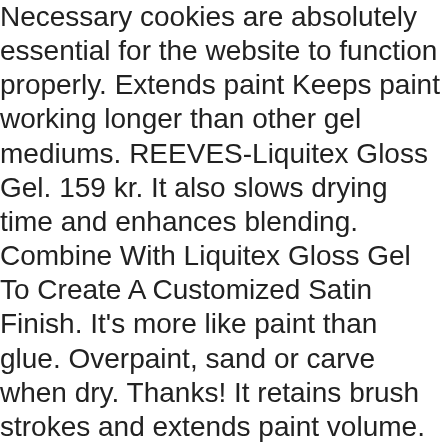Necessary cookies are absolutely essential for the website to function properly. Extends paint Keeps paint working longer than other gel mediums. REEVES-Liquitex Gloss Gel. 159 kr. It also slows drying time and enhances blending. Combine With Liquitex Gloss Gel To Create A Customized Satin Finish. It's more like paint than glue. Overpaint, sand or carve when dry. Thanks! It retains brush strokes and extends paint volume. Info Buy. These cookies will be stored in your browser only with your consent. Some of these items ship sooner than the others. Thinning beyond 25% can cause poor adhesion. Liquithick produces a matte surface sheen when dry. Not sold online Available online Out of stock online. Gels also add "open time" as they tend to dry slower than thinner paint films. It slows drying time and extends paint volume. REEVES-Liquitex Matte Gel. Viscosity and body similar to Liquitex Heavy Body Artist Color. Very little shrinkage during drying time. Fully intermixable with all Liquitex products, Mix with Gloss Gel to create a custom satin gel, Can be thinned by diluting with up to